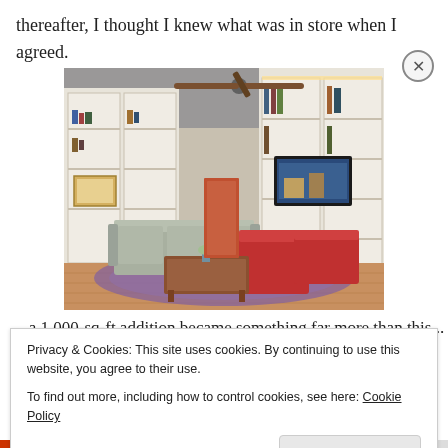thereafter, I thought I knew what was in store when I agreed.
[Figure (photo): Interior photo of a living room with built-in white bookshelves, a ceiling fan, a gray sofa, a wooden coffee table, red armchairs, a patterned rug, and a flat-screen TV mounted on the wall.]
...a 1,000 sq ft...
Privacy & Cookies: This site uses cookies. By continuing to use this website, you agree to their use.
To find out more, including how to control cookies, see here: Cookie Policy